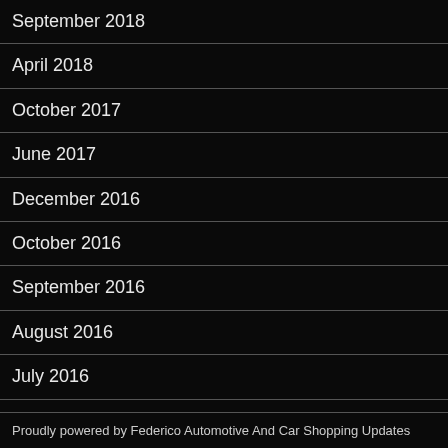September 2018
April 2018
October 2017
June 2017
December 2016
October 2016
September 2016
August 2016
July 2016
June 2016
Proudly powered by Federico Automotive And Car Shopping Updates